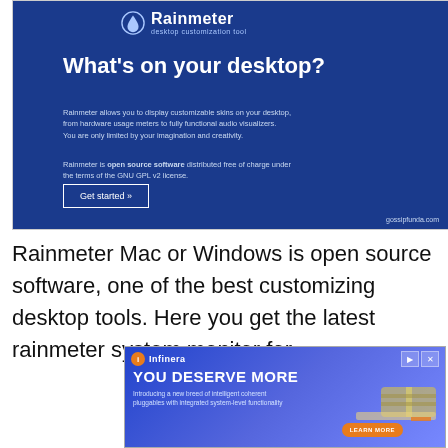[Figure (screenshot): Rainmeter desktop customization tool website banner on dark blue background. Shows logo, headline 'What's on your desktop?', descriptive text about customizable skins, note about open source GPL v2 license, a 'Get started »' button, and gossipfunda.com credit.]
Rainmeter Mac or Windows is open source software, one of the best customizing desktop tools. Here you get the latest rainmeter system monitor for
[Figure (screenshot): Infinera advertisement banner with blue/purple gradient background. Shows Infinera logo with orange icon, 'YOU DESERVE MORE' headline, text 'Introducing a new breed of intelligent coherent pluggables with integrated system-level functionality', an image of a pluggable device, and an orange 'LEARN MORE' button.]